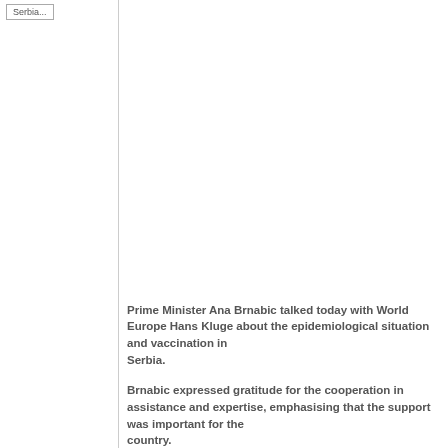Serbia...
Prime Minister Ana Brnabic talked today with World Health Organization Regional Director for Europe Hans Kluge about the epidemiological situation and vaccination in Serbia.
Brnabic expressed gratitude for the cooperation in providing assistance and expertise, emphasising that the support was important for the country.
She informed the WHO Regional Director for Europe about the vaccination situation in Serbia, expressing her belief that, thanks to the large-scale vaccination campaign, Serbia will create collective immunity and return to normal life.